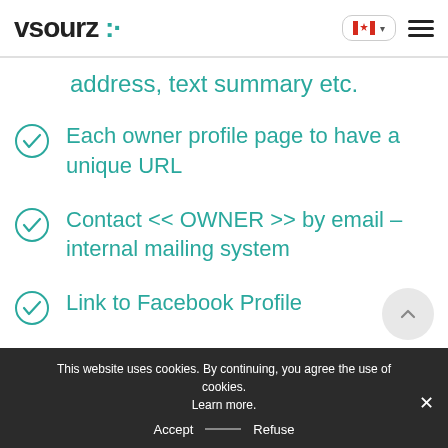vsourz :.
address, text summary etc.
Each owner profile page to have a unique URL
Contact << OWNER >> by email – internal mailing system
Link to Facebook Profile
Link to Twitter Profile
This website uses cookies. By continuing, you agree the use of cookies. Learn more.
Accept — Refuse